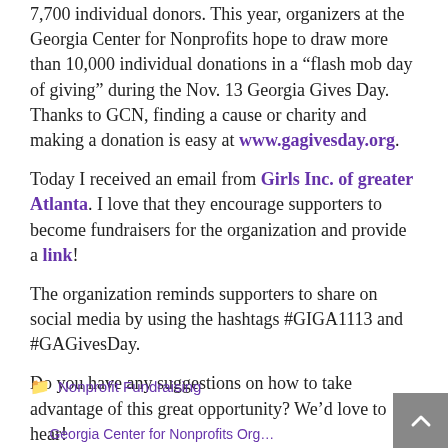7,700 individual donors. This year, organizers at the Georgia Center for Nonprofits hope to draw more than 10,000 individual donations in a “flash mob day of giving” during the Nov. 13 Georgia Gives Day. Thanks to GCN, finding a cause or charity and making a donation is easy at www.gagivesday.org.
Today I received an email from Girls Inc. of greater Atlanta. I love that they encourage supporters to become fundraisers for the organization and provide a link!
The organization reminds supporters to share on social media by using the hashtags #GIGA1113 and #GAGivesDay.
Do you have any suggestions on how to take advantage of this great opportunity? We’d love to hear!
Nonprofit Fundraising